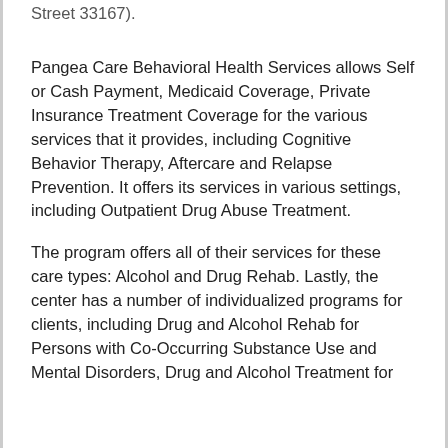Street 33167).
Pangea Care Behavioral Health Services allows Self or Cash Payment, Medicaid Coverage, Private Insurance Treatment Coverage for the various services that it provides, including Cognitive Behavior Therapy, Aftercare and Relapse Prevention. It offers its services in various settings, including Outpatient Drug Abuse Treatment.
The program offers all of their services for these care types: Alcohol and Drug Rehab. Lastly, the center has a number of individualized programs for clients, including Drug and Alcohol Rehab for Persons with Co-Occurring Substance Use and Mental Disorders, Drug and Alcohol Treatment for